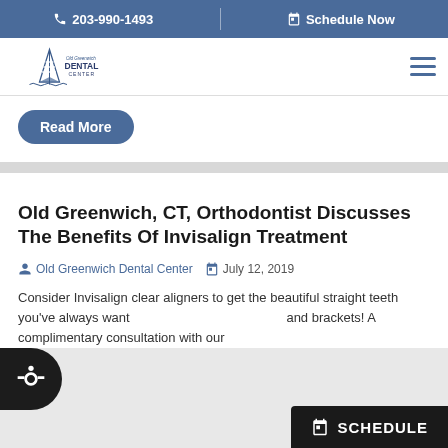📞 203-990-1493  |  📅 Schedule Now
[Figure (logo): Old Greenwich Dental Center logo with sailboat icon]
Read More
Old Greenwich, CT, Orthodontist Discusses The Benefits Of Invisalign Treatment
Old Greenwich Dental Center  July 12, 2019
Consider Invisalign clear aligners to get the beautiful straight teeth you've always want... and brackets! A complimentary consultation with our